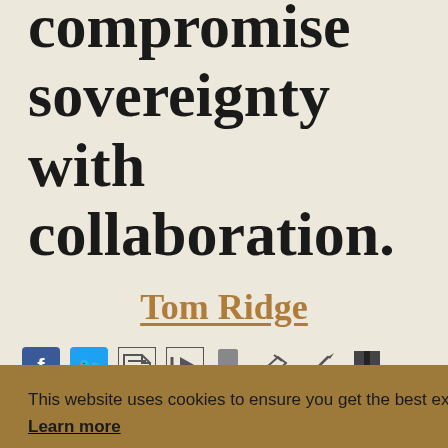compromise sovereignty with collaboration.
Tom Ridge
[Figure (illustration): Row of social media and action icons: Facebook (blue), Twitter (blue), document, video, share/clip, edit, pen, bookmark]
This website uses cookies to ensure you get the best experience on our website. Learn more
Got it!
and public can be